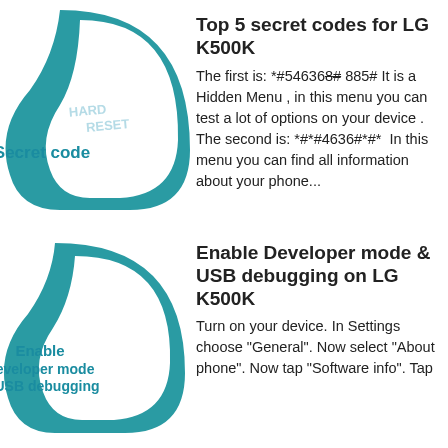[Figure (illustration): Teal swooping shape with 'Secret code' text in teal bold, overlaid with 'HARD RESET' watermark text in light blue]
Top 5 secret codes for LG K500K
The first is: *#546368# 885# It is a Hidden Menu , in this menu you can test a lot of options on your device . The second is: *#*#4636#*#*  In this menu you can find all information about your phone...
[Figure (illustration): Teal swooping shape with 'Enable Developer mode & USB debugging' text in teal bold]
Enable Developer mode & USB debugging on LG K500K
Turn on your device. In Settings choose "General". Now select "About phone". Now tap "Software info". Tap